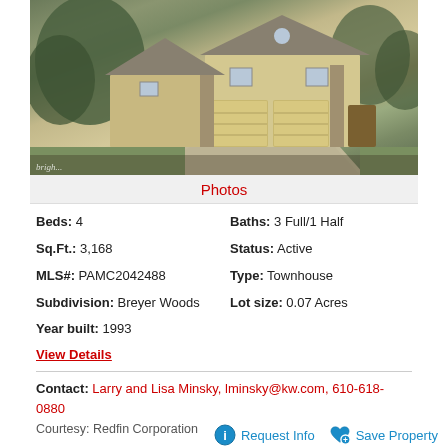[Figure (photo): Exterior photo of a two-story townhouse with attached two-car garage, stone and stucco facade, mature trees, and paved driveway. Bright MLS watermark in lower left.]
Photos
Beds: 4
Baths: 3 Full/1 Half
Sq.Ft.: 3,168
Status: Active
MLS#: PAMC2042488
Type: Townhouse
Subdivision: Breyer Woods
Lot size: 0.07 Acres
Year built: 1993
View Details
Contact: Larry and Lisa Minsky, lminsky@kw.com, 610-618-0880
Courtesy: Redfin Corporation
Request Info
Save Property